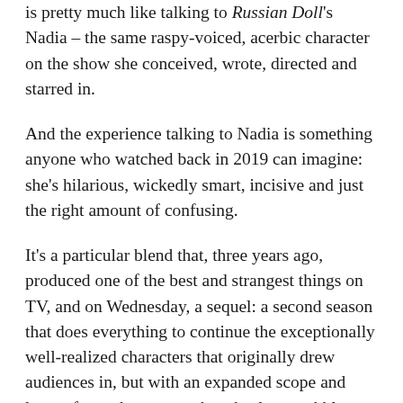is pretty much like talking to Russian Doll's Nadia – the same raspy-voiced, acerbic character on the show she conceived, wrote, directed and starred in.
And the experience talking to Nadia is something anyone who watched back in 2019 can imagine: she's hilarious, wickedly smart, incisive and just the right amount of confusing.
It's a particular blend that, three years ago, produced one of the best and strangest things on TV, and on Wednesday, a sequel: a second season that does everything to continue the exceptionally well-realized characters that originally drew audiences in, but with an expanded scope and looser focus that causes the wheels to wobble.